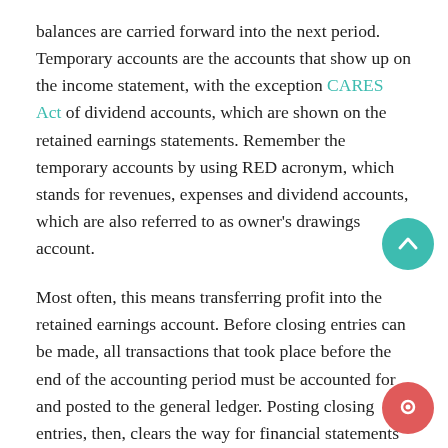balances are carried forward into the next period. Temporary accounts are the accounts that show up on the income statement, with the exception CARES Act of dividend accounts, which are shown on the retained earnings statements. Remember the temporary accounts by using RED acronym, which stands for revenues, expenses and dividend accounts, which are also referred to as owner's drawings account.
Most often, this means transferring profit into the retained earnings account. Before closing entries can be made, all transactions that took place before the end of the accounting period must be accounted for and posted to the general ledger. Posting closing entries, then, clears the way for financial statements to be made. Permanent accounts do not typically carry this label in the general ledger. Accountants simply know and define the accounts by the information they retain. In some businesses,